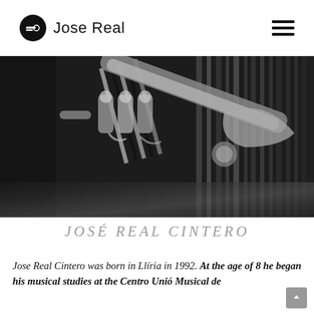Jose Real
[Figure (photo): Black and white close-up photograph of a person holding a trumpet or brass instrument, with dramatic striped light and shadow patterns in the background]
JOSÉ REAL CINTERO
Jose Real Cintero was born in Llíria in 1992. At the age of 8 he began his musical studies at the Centro Unió Musical de